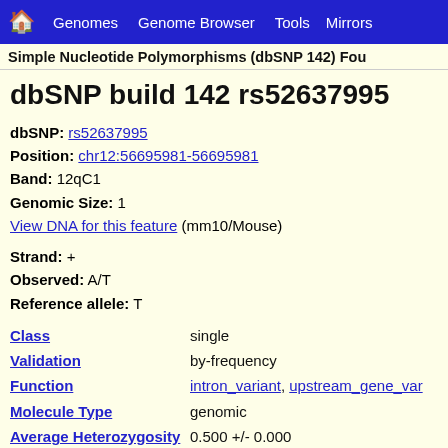Genomes  Genome Browser  Tools  Mirrors
Simple Nucleotide Polymorphisms (dbSNP 142) Fou...
dbSNP build 142 rs52637995
dbSNP: rs52637995
Position: chr12:56695981-56695981
Band: 12qC1
Genomic Size: 1
View DNA for this feature (mm10/Mouse)
Strand: +
Observed: A/T
Reference allele: T
| Field | Value |
| --- | --- |
| Class | single |
| Validation | by-frequency |
| Function | intron_variant, upstream_gene_var... |
| Molecule Type | genomic |
| Average Heterozygosity | 0.500 +/- 0.000 |
| Weight | 1 |
| Submitter Handles | PERLEGEN, SC_MOUSE_GENOM... |